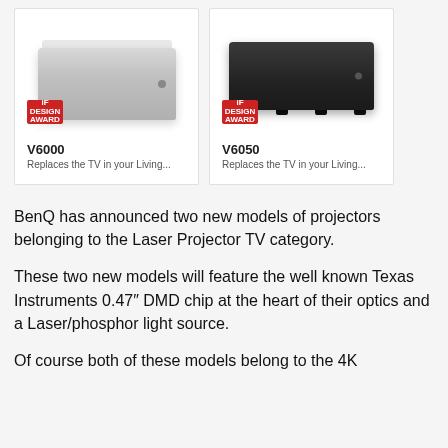[Figure (photo): BenQ V6000 laser projector TV (silver/white color), with iF Design Award badge]
V6000
Replaces the TV in your Living...
[Figure (photo): BenQ V6050 laser projector TV (black color), with iF Design Award badge]
V6050
Replaces the TV in your Living...
BenQ has announced two new models of projectors belonging to the Laser Projector TV category.
These two new models will feature the well known Texas Instruments 0.47″ DMD chip at the heart of their optics and a Laser/phosphor light source.
Of course both of these models belong to the 4K